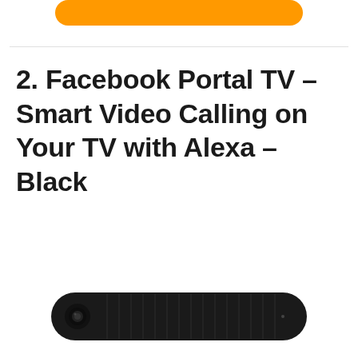[Figure (other): Orange rounded rectangle button, partially visible at top of page]
2. Facebook Portal TV – Smart Video Calling on Your TV with Alexa – Black
[Figure (photo): Facebook Portal TV device — a black elongated horizontal bar/soundbar-style device with a camera lens on the left end, sitting at the bottom of the page]